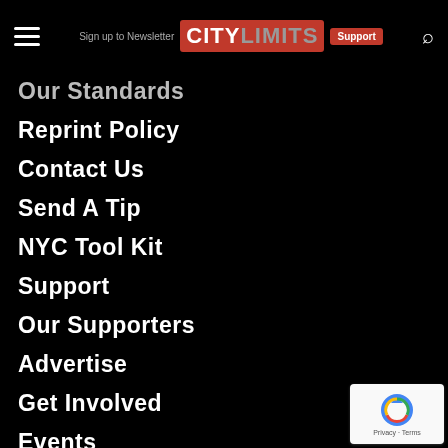Sign up to Newsletter | Support — CITY LIMITS
Our Standards
Reprint Policy
Contact Us
Send A Tip
NYC Tool Kit
Support
Our Supporters
Advertise
Get Involved
Events
Media Kit
Privacy Policy
Annual Report
[Figure (logo): reCAPTCHA badge with Google logo and Privacy - Terms text]